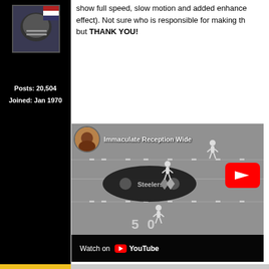show full speed, slow motion and added enhance effect). Not sure who is responsible for making th but THANK YOU!
Posts: 20,504
Joined: Jan 1970
[Figure (screenshot): YouTube embed showing 'Immaculate Reception Wide' video with Steelers logo on football field, Watch on YouTube bar at bottom]
[Figure (photo): User avatar photo showing a person in football helmet/gear]